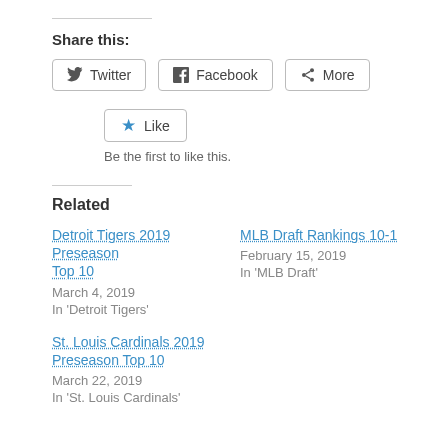Share this:
Twitter  Facebook  More
Like
Be the first to like this.
Related
Detroit Tigers 2019 Preseason Top 10
March 4, 2019
In 'Detroit Tigers'
MLB Draft Rankings 10-1
February 15, 2019
In 'MLB Draft'
St. Louis Cardinals 2019 Preseason Top 10
March 22, 2019
In 'St. Louis Cardinals'